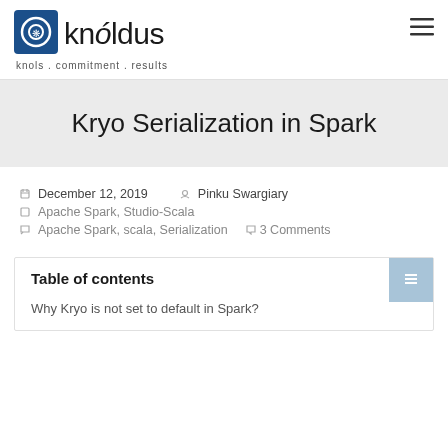knóldus — knols . commitment . results
Kryo Serialization in Spark
December 12, 2019  Pinku Swargiary  Apache Spark, Studio-Scala  Apache Spark, scala, Serialization  3 Comments
Table of contents
Why Kryo is not set to default in Spark?